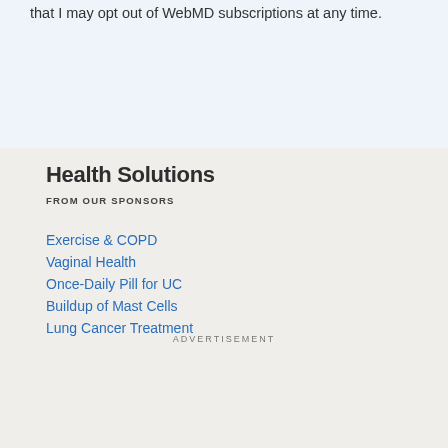that I may opt out of WebMD subscriptions at any time.
Health Solutions
FROM OUR SPONSORS
Exercise & COPD
Vaginal Health
Once-Daily Pill for UC
Buildup of Mast Cells
Lung Cancer Treatment
ADVERTISEMENT